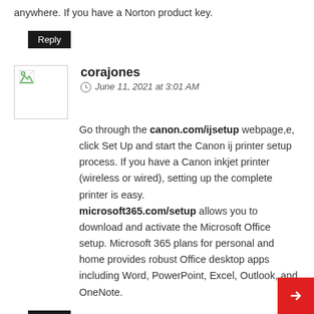anywhere. If you have a Norton product key.
Reply
corajones
June 11, 2021 at 3:01 AM
Go through the canon.com/ijsetup webpage,e, click Set Up and start the Canon ij printer setup process. If you have a Canon inkjet printer (wireless or wired), setting up the complete printer is easy. microsoft365.com/setup allows you to download and activate the Microsoft Office setup. Microsoft 365 plans for personal and home provides robust Office desktop apps including Word, PowerPoint, Excel, Outlook, and OneNote.
Reply
Unknown
June 15, 2021 at 1:03 AM
Go through the canon.com/ijsetup webpage, click Set Up and start the Canon ij printer setup process.Use ij.start canon to set up your Canon product. Get inkjet Canon printer and scanner support here is a Canon printer help site to